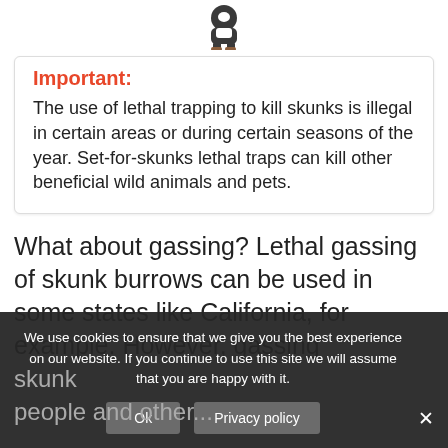[Figure (illustration): Cartoon illustration of a skunk character standing upright, wearing boots]
Important:
The use of lethal trapping to kill skunks is illegal in certain areas or during certain seasons of the year. Set-for-skunks lethal traps can kill other beneficial wild animals and pets.
What about gassing? Lethal gassing of skunk burrows can be used in some states like California, for example. However, gassing skunk... people and other...
We use cookies to ensure that we give you the best experience on our website. If you continue to use this site we will assume that you are happy with it.